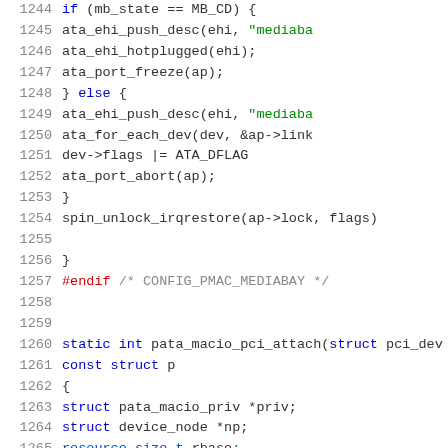Source code listing, lines 1244-1265, C kernel code for pata_macio driver with CONFIG_PMAC_MEDIABAY conditional compilation